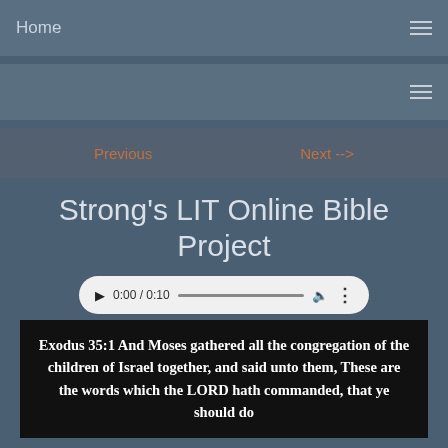Home
Previous   Next -->
Strong's LIT Online Bible Project
[Figure (other): Audio player widget showing 0:00 / 0:10 with play button, progress bar, volume icon, and more options]
Exodus 35:1 And Moses gathered all the congregation of the children of Israel together, and said unto them, These are the words which the LORD hath commanded, that ye should do